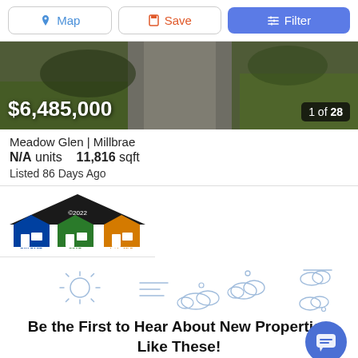Map | Save | Filter
[Figure (photo): Aerial/street view property photo showing driveway, grass, and trees]
$6,485,000 — 1 of 28
Meadow Glen | Millbrae
N/A units   11,816 sqft
Listed 86 Days Ago
[Figure (logo): ©2022 combined MLS logo with BAY EAST, CCAR, and bridgeMLS house icons]
[Figure (illustration): Weather-themed decorative illustration with sun, clouds, and wind lines]
Be the First to Hear About New Properties Like These!